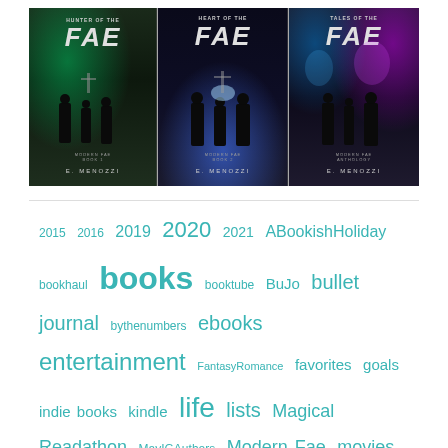[Figure (photo): Three fantasy book covers for 'Modern Fae' series by E. Menozzi — 'Hunter of the Fae', 'Heart of the Fae', and 'Tales of the Fae' — displayed side by side with dark atmospheric backgrounds and glowing effects]
2015 2016 2019 2020 2021 ABookishHoliday bookhaul books booktube BuJo bullet journal bythenumbers ebooks entertainment FantasyRomance favorites goals indie books kindle life lists Magical Readathon MayIGAuthors Modern Fae movies music nano prep